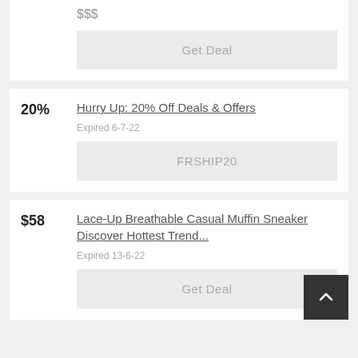$$$
Get Deal
Hurry Up: 20% Off Deals & Offers
20%
Expired 6-7-22
FRSHIP20
Lace-Up Breathable Casual Muffin Sneaker Discover Hottest Trend...
$58
Expired 13-6-22
Get Deal